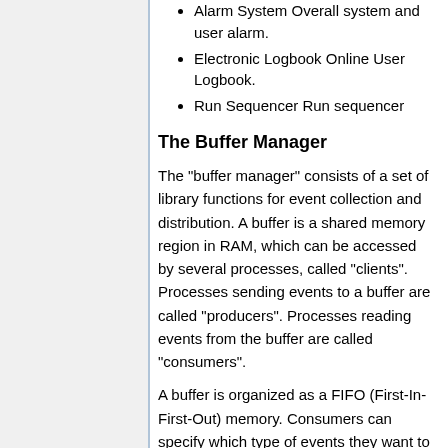Alarm System Overall system and user alarm.
Electronic Logbook Online User Logbook.
Run Sequencer Run sequencer
The Buffer Manager
The "buffer manager" consists of a set of library functions for event collection and distribution. A buffer is a shared memory region in RAM, which can be accessed by several processes, called "clients". Processes sending events to a buffer are called "producers". Processes reading events from the buffer are called "consumers".
A buffer is organized as a FIFO (First-In-First-Out) memory. Consumers can specify which type of events they want to receive from a buffer. For this purpose